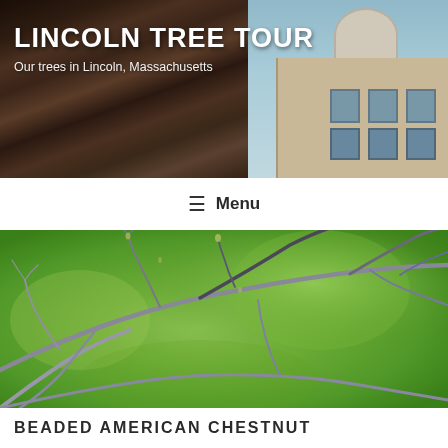LINCOLN TREE TOUR
Our trees in Lincoln, Massachusetts
≡ Menu
[Figure (photo): Close-up photograph of bare tree branches with small buds against a blurred green grass background]
BEADED AMERICAN CHESTNUT